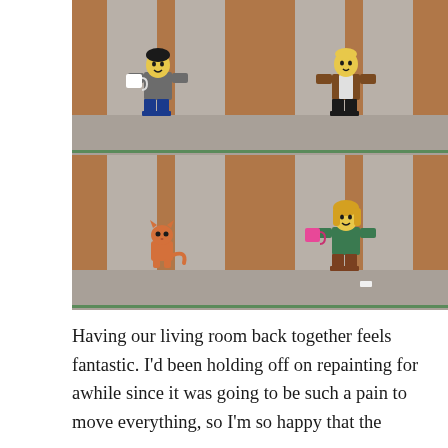[Figure (photo): Four photos arranged in a 2x2 grid showing LEGO minifigures placed inside a wooden shelf/cubby. Top-left: a male minifigure with dark hair holding a white mug, wearing a gray jacket and blue pants. Top-right: a male minifigure with yellow head wearing a brown jacket and black pants. Bottom-left: a small orange cat figure. Bottom-right: a female minifigure with blonde hair holding a pink mug, wearing a green top.]
Having our living room back together feels fantastic. I'd been holding off on repainting for awhile since it was going to be such a pain to move everything, so I'm so happy that the